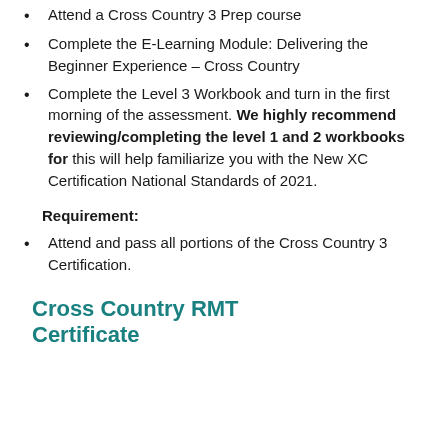Attend a Cross Country 3 Prep course
Complete the E-Learning Module: Delivering the Beginner Experience – Cross Country
Complete the Level 3 Workbook and turn in the first morning of the assessment. We highly recommend reviewing/completing the level 1 and 2 workbooks for this will help familiarize you with the New XC Certification National Standards of 2021.
Requirement:
Attend and pass all portions of the Cross Country 3 Certification.
Cross Country RMT Certificate